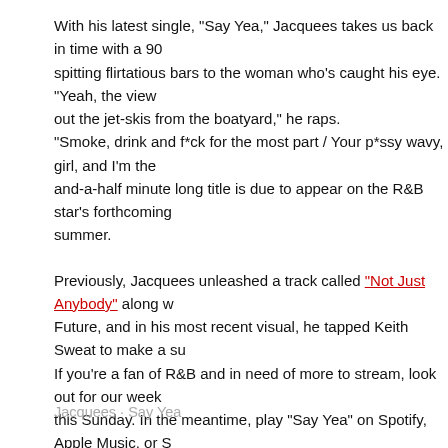With his latest single, "Say Yea," Jacquees takes us back in time with a 90 spitting flirtatious bars to the woman who's caught his eye. "Yeah, the view out the jet-skis from the boatyard," he raps. "Smoke, drink and f*ck for the most part / Your p*ssy wavy, girl, and I'm the and-a-half minute long title is due to appear on the R&B star's forthcoming summer.
Previously, Jacquees unleashed a track called "Not Just Anybody" along w Future, and in his most recent visual, he tapped Keith Sweat to make a su If you're a fan of R&B and in need of more to stream, look out for our week this Sunday. In the meantime, play "Say Yea" on Spotify, Apple Music, or S know what you think in the comments.
Quotable Lyrics:
I could put you on, that's a guarantee
Leave that n*gga alone, and come f*ck with me
Now, I ain't saying that I'm Mr. Right
But right now, I know what's missing in your life
Jacquees · Say Yea